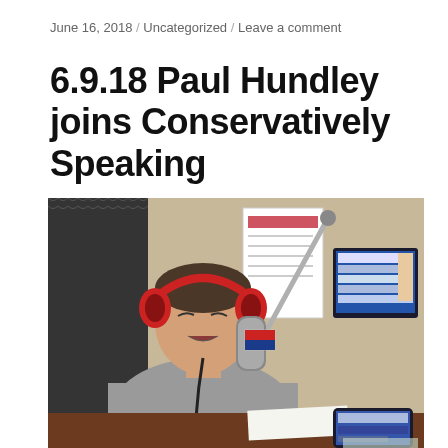June 16, 2018 / Uncategorized / Leave a comment
6.9.18 Paul Hundley joins Conservatively Speaking
[Figure (photo): A man wearing red headphones sits at a radio studio desk speaking into a large microphone with a branded mic flag. He is wearing a grey long-sleeve shirt and holds something in his hands. Behind him are acoustic foam panels on the wall, a whiteboard with notes, a monitor with software open, and various radio station equipment.]